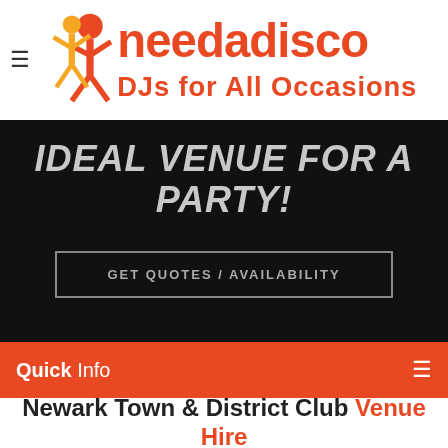[Figure (logo): needadisco logo with orange figure and text 'needadisco DJs for All Occasions']
IDEAL VENUE FOR A PARTY!
GET QUOTES / AVAILABILITY
Quick Info
Newark Town & District Club Venue Hire